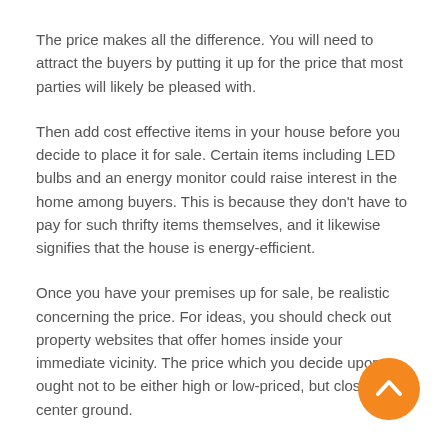The price makes all the difference. You will need to attract the buyers by putting it up for the price that most parties will likely be pleased with.
Then add cost effective items in your house before you decide to place it for sale. Certain items including LED bulbs and an energy monitor could raise interest in the home among buyers. This is because they don't have to pay for such thrifty items themselves, and it likewise signifies that the house is energy-efficient.
Once you have your premises up for sale, be realistic concerning the price. For ideas, you should check out property websites that offer homes inside your immediate vicinity. The price which you decide upon ought not to be either high or low-priced, but closer the center ground.
[Figure (other): Orange circular button with upward chevron arrow (scroll-to-top button), positioned at bottom-right of page]